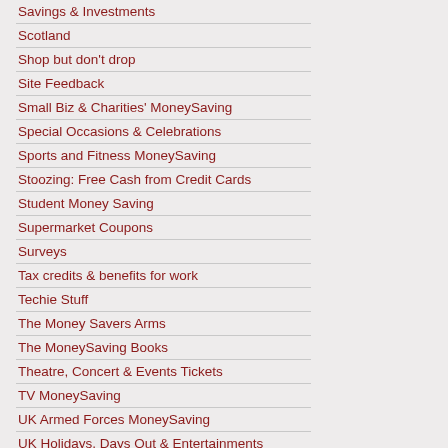Savings & Investments
Scotland
Shop but don't drop
Site Feedback
Small Biz & Charities' MoneySaving
Special Occasions & Celebrations
Sports and Fitness MoneySaving
Stoozing: Free Cash from Credit Cards
Student Money Saving
Supermarket Coupons
Surveys
Tax credits & benefits for work
Techie Stuff
The Money Savers Arms
The MoneySaving Books
Theatre, Concert & Events Tickets
TV MoneySaving
UK Armed Forces MoneySaving
UK Holidays, Days Out & Entertainments
Volcano Travel Chaos Help & Info
Wales
Water Bills